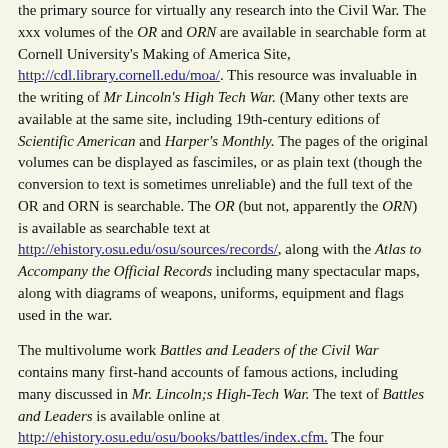the primary source for virtually any research into the Civil War. The xxx volumes of the OR and ORN are available in searchable form at Cornell University's Making of America Site, http://cdl.library.cornell.edu/moa/. This resource was invaluable in the writing of Mr Lincoln's High Tech War. (Many other texts are available at the same site, including 19th-century editions of Scientific American and Harper's Monthly. The pages of the original volumes can be displayed as fascimiles, or as plain text (though the conversion to text is sometimes unreliable) and the full text of the OR and ORN is searchable. The OR (but not, apparently the ORN) is available as searchable text at http://ehistory.osu.edu/osu/sources/records/, along with the Atlas to Accompany the Official Records including many spectacular maps, along with diagrams of weapons, uniforms, equipment and flags used in the war.
The multivolume work Battles and Leaders of the Civil War contains many first-hand accounts of famous actions, including many discussed in Mr. Lincoln;s High-Tech War. The text of Battles and Leaders is available online at http://ehistory.osu.edu/osu/books/battles/index.cfm. The four volumes are also available via books.google.com (see below).
The Dictionary of American Naval Fighting Ships. There are many online versions of DANFS, but the definitive one, maintained by the U.S. Naval History and Heritage Command (formerly the